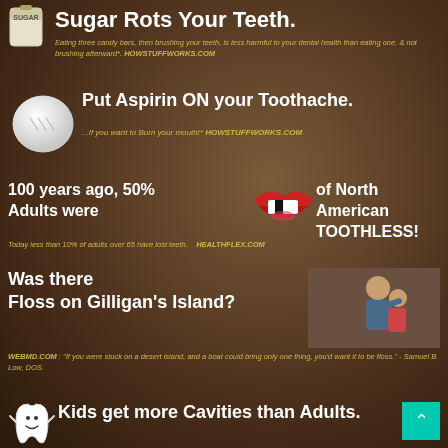[Figure (illustration): Sugar bag illustration in top left corner]
Sugar Rots Your Teeth.
Eating three candy bars, then brushing your teeth, is less harmful to your dental health than eating one, & not brushing afterward*. HOWSTUFFWORKS.COM
[Figure (photo): White aspirin pill]
Put Aspirin ON your Toothache.
...If you want to Burn your mouth!* HOWSTUFFWORKS.COM
100 years ago, 50% of North American Adults were TOOTHLESS!
[Figure (illustration): Red lips with missing teeth]
Today less than 10% of adults over 65 have lost teeth. HEALTHFLEX.COM
Was there Floss on Gilligan's Island?
[Figure (photo): Man and child, dental scene]
WEBMD.COM : "If you were stuck on a desert island, and a boat could bring only one thing, you'd want it to be floss." - Samuel B. Low, DOS.
[Figure (illustration): Cartoon tooth character]
Kids get more Cavities than Adults.